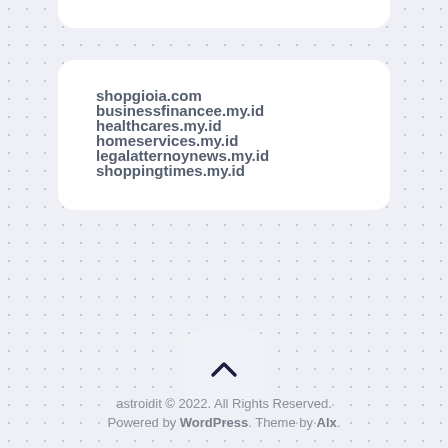shopgioia.com
businessfinancee.my.id
healthcares.my.id
homeservices.my.id
legalatternoynews.my.id
shoppingtimes.my.id
[Figure (other): Scroll-to-top button with upward chevron arrow icon]
astroidit © 2022. All Rights Reserved. Powered by WordPress. Theme by Alx.